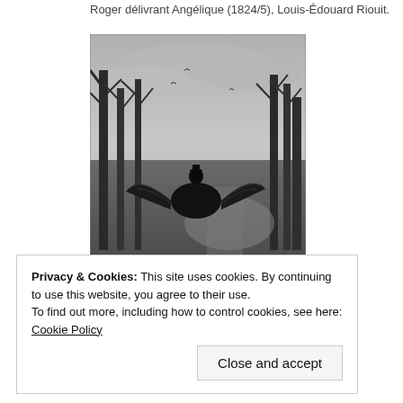Roger délivrant Angélique (1824/5), Louis-Édouard Riouit.
[Figure (illustration): Black and white engraving or painting showing a knight riding a large winged creature (hippogriff) through a dark forest landscape with bare trees, cloudy sky, and a path visible in the background.]
Privacy & Cookies: This site uses cookies. By continuing to use this website, you agree to their use.
To find out more, including how to control cookies, see here: Cookie Policy
Close and accept